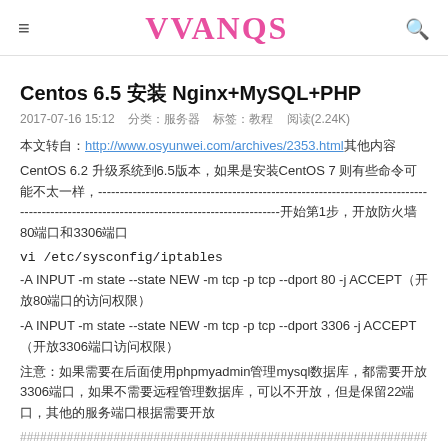≡  VVANQS  🔍
Centos 6.5 安装 Nginx+MySQL+PHP
2017-07-16 15:12   分类：服务器   标签：教程   阅读(2.24K)
本文转自：http://www.osyunwei.com/archives/2353.html 其他内容
CentOS 6.2 升级系统到6.5版本，如果是安装CentOS 7 则有些命令可能不太一样，----------------------------------------------------------------------------------------------------------------------------------------开始第1步，开放防火墙80端口和3306端口
vi /etc/sysconfig/iptables
-A INPUT -m state --state NEW -m tcp -p tcp --dport 80 -j ACCEPT（开放80端口的访问权限）
-A INPUT -m state --state NEW -m tcp -p tcp --dport 3306 -j ACCEPT（开放3306端口访问权限）
注意：如果需要在后面使用phpmyadmin管理mysql数据库，都需要开放3306端口，如果不需要远程管理数据库，可以不开放，但是保留22端口，其他的服务端口根据需要开放
####################################################################################